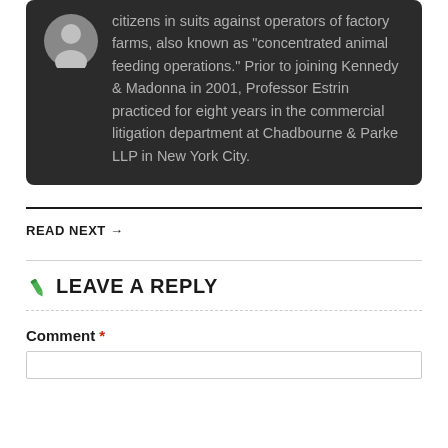citizens in suits against operators of factory farms, also known as "concentrated animal feeding operations." Prior to joining Kennedy & Madonna in 2001, Professor Estrin practiced for eight years in the commercial litigation department at Chadbourne & Parke LLP in New York City.
READ NEXT →
LEAVE A REPLY
Comment *